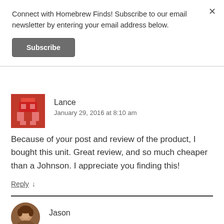Connect with Homebrew Finds! Subscribe to our email newsletter by entering your email address below.
Subscribe
Lance
January 29, 2016 at 8:10 am
Because of your post and review of the product, I bought this unit. Great review, and so much cheaper than a Johnson. I appreciate you finding this!
Reply ↓
Jason